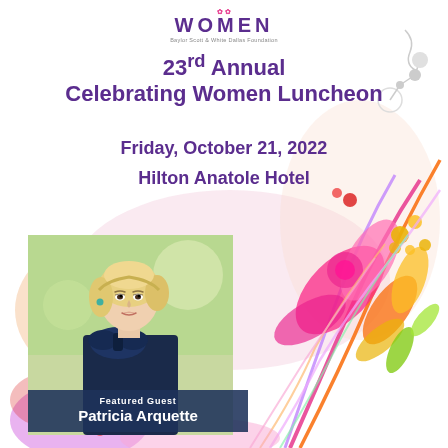[Figure (logo): Celebrating Women logo with text WOMEN and Baylor Scott & White Dallas Foundation]
23rd Annual Celebrating Women Luncheon
Friday, October 21, 2022
Hilton Anatole Hotel
[Figure (photo): Portrait photo of Patricia Arquette, a blonde woman wearing a dark navy bow-front garment, against a soft outdoor background]
Featured Guest Patricia Arquette
[Figure (illustration): Colorful decorative floral and swirl illustration with pink, orange, yellow, green, purple and red patterns on right side and lower portions of the page, with light peach blob shapes in the background]